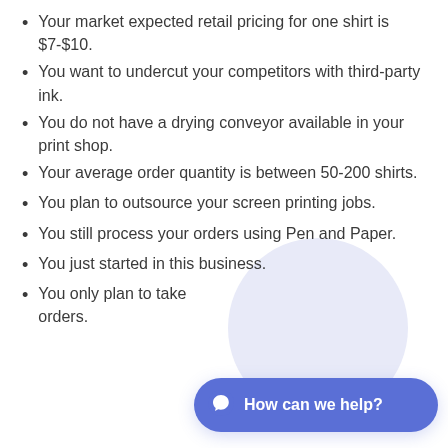Your market expected retail pricing for one shirt is $7-$10.
You want to undercut your competitors with third-party ink.
You do not have a drying conveyor available in your print shop.
Your average order quantity is between 50-200 shirts.
You plan to outsource your screen printing jobs.
You still process your orders using Pen and Paper.
You just started in this business.
You only plan to take orders.